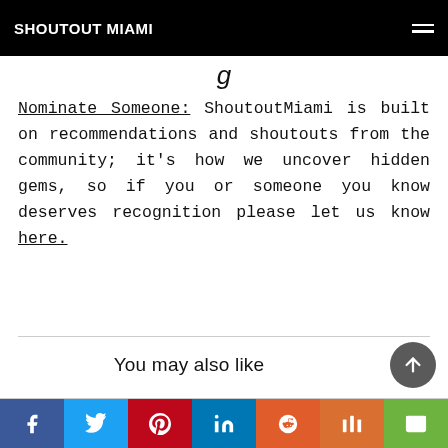SHOUTOUT MIAMI
Nominate Someone: ShoutoutMiami is built on recommendations and shoutouts from the community; it's how we uncover hidden gems, so if you or someone you know deserves recognition please let us know here.
You may also like